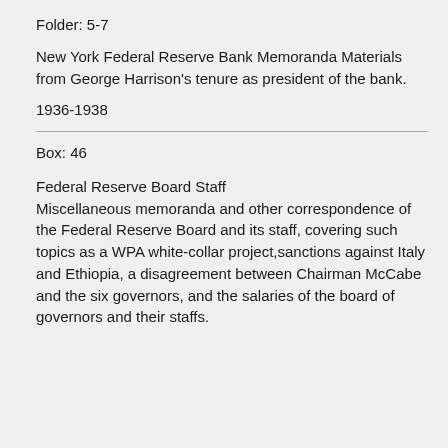Folder: 5-7
New York Federal Reserve Bank Memoranda Materials from George Harrison's tenure as president of the bank.
1936-1938
Box: 46
Federal Reserve Board Staff Miscellaneous memoranda and other correspondence of the Federal Reserve Board and its staff, covering such topics as a WPA white-collar project,sanctions against Italy and Ethiopia, a disagreement between Chairman McCabe and the six governors, and the salaries of the board of governors and their staffs.